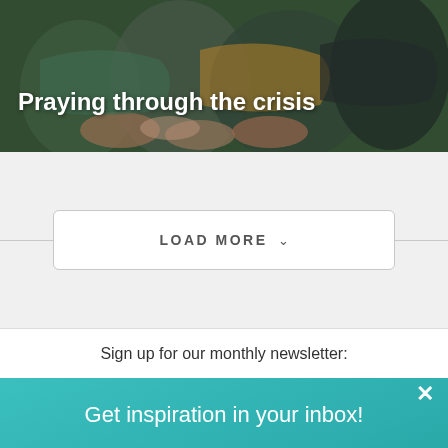[Figure (photo): Hero image of people praying together with hands joined, dark green toned background]
Praying through the crisis
LOAD MORE ▾
Sign up for our monthly newsletter:
Get inspiration in your inbox!
First Name
example@email.
SUBMIT